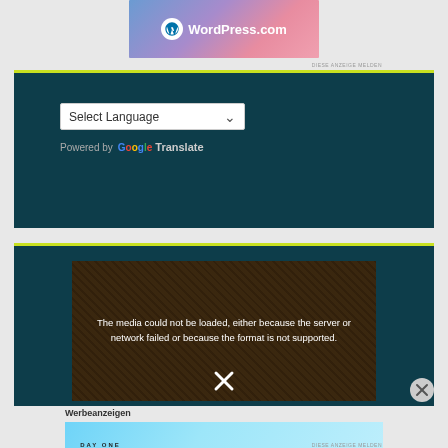[Figure (screenshot): WordPress.com advertisement banner with gradient blue-purple-pink background and WordPress logo]
DIESE ANZEIGE MELDEN
[Figure (screenshot): Google Translate widget with 'Select Language' dropdown on dark teal background, powered by Google Translate]
[Figure (screenshot): Video player on dark teal background showing error message: 'The media could not be loaded, either because the server or network failed or because the format is not supported.' with an X close button]
Werbeanzeigen
[Figure (screenshot): Day One journaling app advertisement: 'The only journaling app you'll ever need.' with light blue background and app icons]